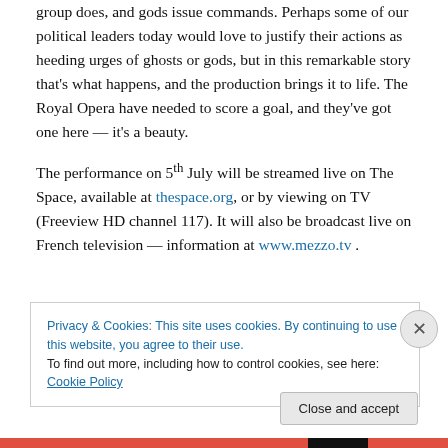group does, and gods issue commands. Perhaps some of our political leaders today would love to justify their actions as heeding urges of ghosts or gods, but in this remarkable story that's what happens, and the production brings it to life. The Royal Opera have needed to score a goal, and they've got one here — it's a beauty.
The performance on 5th July will be streamed live on The Space, available at thespace.org, or by viewing on TV (Freeview HD channel 117). It will also be broadcast live on French television — information at www.mezzo.tv .
Privacy & Cookies: This site uses cookies. By continuing to use this website, you agree to their use.
To find out more, including how to control cookies, see here: Cookie Policy